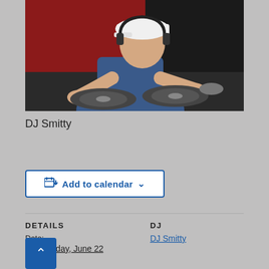[Figure (photo): A man wearing a white baseball cap and headphones, leaning over DJ turntables in what appears to be a DJ booth. Background shows red and dark curtains.]
DJ Smitty
Add to calendar
DETAILS
Date:
Wednesday, June 22
DJ
DJ Smitty